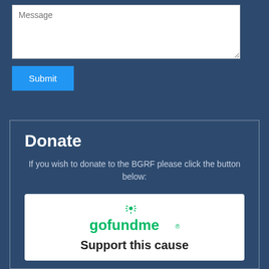[Figure (screenshot): A text area input field with placeholder text 'Message' on a dark blue background]
[Figure (screenshot): A blue 'Submit' button on a dark blue background]
Donate
If you wish to donate to the BGRF please click the button below:
[Figure (logo): GoFundMe logo with green text and sun icon above]
Support this cause